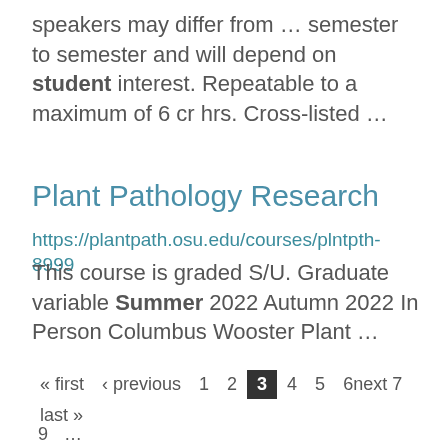speakers may differ from … semester to semester and will depend on student interest. Repeatable to a maximum of 6 cr hrs. Cross-listed …
Plant Pathology Research
https://plantpath.osu.edu/courses/plntpth-8999
This course is graded S/U. Graduate variable Summer 2022 Autumn 2022 In Person Columbus Wooster Plant …
« first ‹ previous 1 2 3 4 5 6next 7 last » 9 …